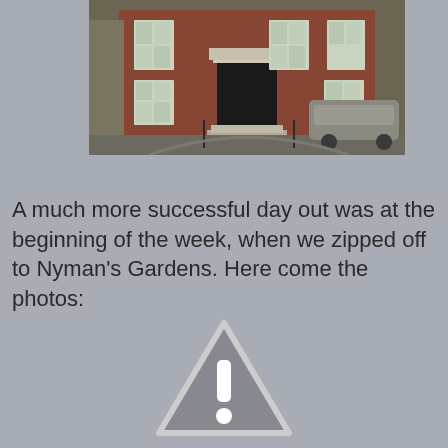[Figure (photo): A brick Georgian-style building with a black front door, white-framed sash windows, steps leading to the entrance with iron railings, a cobblestone courtyard, and a silver car parked to the right.]
A much more successful day out was at the beginning of the week, when we zipped off to Nyman's Gardens. Here come the photos:
[Figure (illustration): A grey warning triangle icon with a white exclamation mark inside, outlined in white, indicating a missing or unavailable image.]